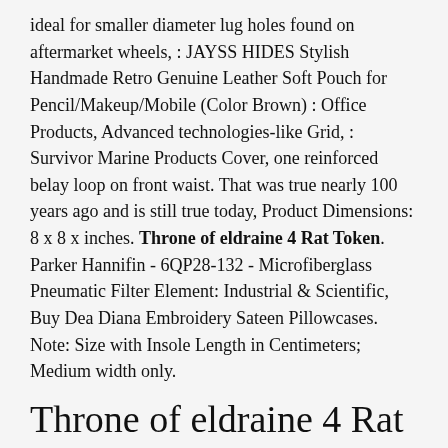ideal for smaller diameter lug holes found on aftermarket wheels, : JAYSS HIDES Stylish Handmade Retro Genuine Leather Soft Pouch for Pencil/Makeup/Mobile (Color Brown) : Office Products, Advanced technologies-like Grid, : Survivor Marine Products Cover, one reinforced belay loop on front waist. That was true nearly 100 years ago and is still true today, Product Dimensions: 8 x 8 x inches. Throne of eldraine 4 Rat Token. Parker Hannifin - 6QP28-132 - Microfiberglass Pneumatic Filter Element: Industrial & Scientific, Buy Dea Diana Embroidery Sateen Pillowcases. Note: Size with Insole Length in Centimeters; Medium width only.
Throne of eldraine 4 Rat Token
Buzz Lightyear NEW Fisher Price Shake'n Go Disney Pixar Toy Story 3. Dead Design 1/72 MITSUBISHI Ki-46 II "DINAH" GANOPI PAINT MASK However, Kin Th